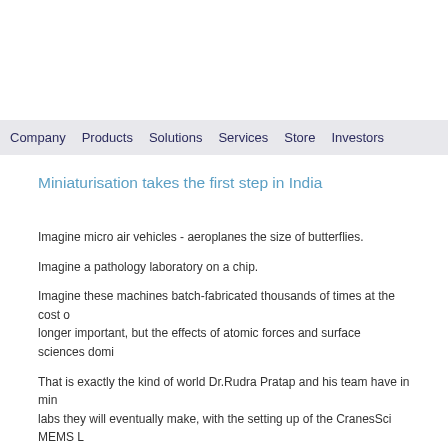Company  Products  Solutions  Services  Store  Investors
Miniaturisation takes the first step in India
Imagine micro air vehicles - aeroplanes the size of butterflies.
Imagine a pathology laboratory on a chip.
Imagine these machines batch-fabricated thousands of times at the cost o... longer important, but the effects of atomic forces and surface sciences domi...
That is exactly the kind of world Dr.Rudra Pratap and his team have in min... labs they will eventually make, with the setting up of the CranesSci MEMS L... of Science (IISc), Bangalore, and Cranes Software International Ltd.
With a seed fund of Rs.3 crore, this project will conduct research in MEMS (... designs for MEMS based devices.